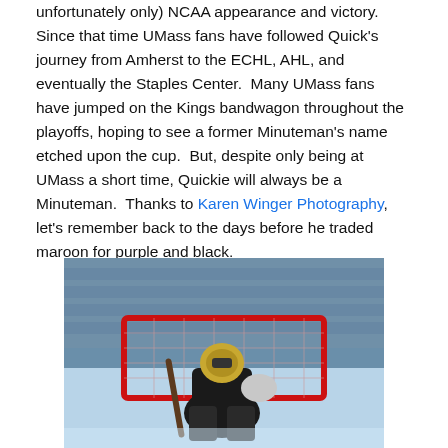unfortunately only) NCAA appearance and victory.  Since that time UMass fans have followed Quick's journey from Amherst to the ECHL, AHL, and eventually the Staples Center.  Many UMass fans have jumped on the Kings bandwagon throughout the playoffs, hoping to see a former Minuteman's name etched upon the cup.  But, despite only being at UMass a short time, Quickie will always be a Minuteman.  Thanks to Karen Winger Photography, let's remember back to the days before he traded maroon for purple and black.
[Figure (photo): Hockey goalie in black uniform with decorated mask crouching in front of a red goal net on an ice rink.]